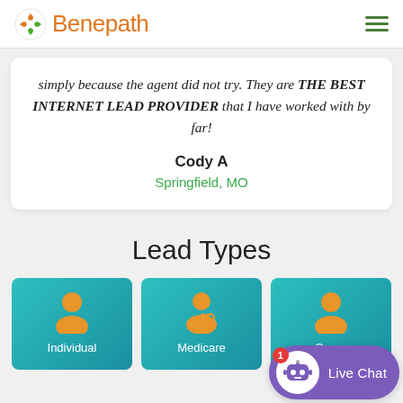[Figure (logo): Benepath logo with orange/green swirl icon and orange text]
simply because the agent did not try. They are THE BEST INTERNET LEAD PROVIDER that I have worked with by far!
Cody A
Springfield, MO
Lead Types
[Figure (illustration): Individual lead type card with person icon]
[Figure (illustration): Medicare lead type card with doctor icon]
[Figure (illustration): Group lead type card (partially visible)]
[Figure (illustration): Live Chat button with robot icon and badge showing 1]